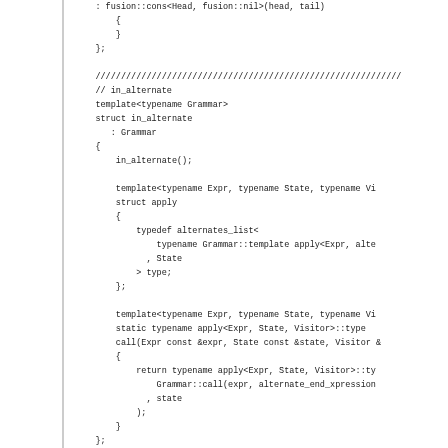Code snippet showing C++ template structures: fusion::cons, in_alternate, and as_alternate_matcher